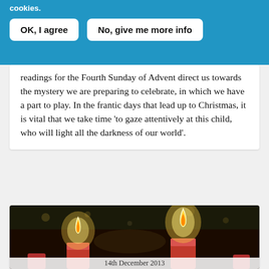cookies.
OK, I agree | No, give me more info
readings for the Fourth Sunday of Advent direct us towards the mystery we are preparing to celebrate, in which we have a part to play. In the frantic days that lead up to Christmas, it is vital that we take time 'to gaze attentively at this child, who will light all the darkness of our world'.
[Figure (photo): Photo of red Advent candles burning against a dark background with greenery, warm glowing flames.]
14th December 2013